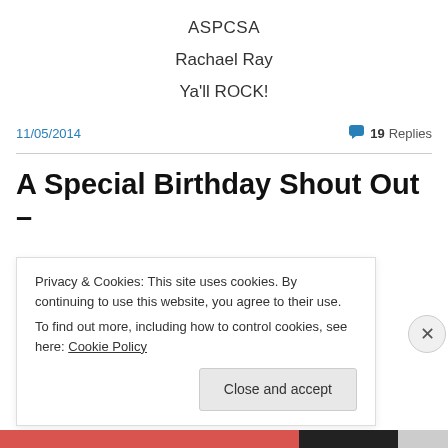ASPCSA
Rachael Ray
Ya'll ROCK!
11/05/2014
19 Replies
A Special Birthday Shout Out –
Privacy & Cookies: This site uses cookies. By continuing to use this website, you agree to their use.
To find out more, including how to control cookies, see here: Cookie Policy
Close and accept